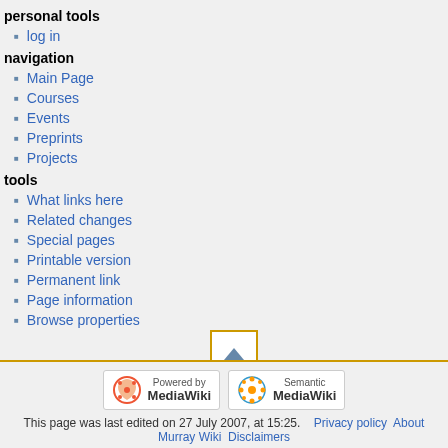personal tools
log in
navigation
Main Page
Courses
Events
Preprints
Projects
tools
What links here
Related changes
Special pages
Printable version
Permanent link
Page information
Browse properties
[Figure (other): Scroll to top button with upward triangle arrow]
[Figure (logo): Powered by MediaWiki badge logo]
[Figure (logo): Semantic MediaWiki badge logo]
This page was last edited on 27 July 2007, at 15:25.  Privacy policy  About  Murray Wiki  Disclaimers